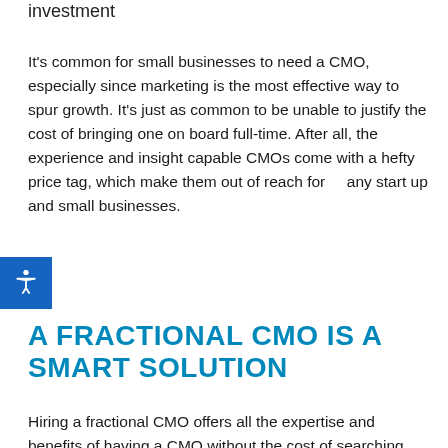investment
It's common for small businesses to need a CMO, especially since marketing is the most effective way to spur growth. It's just as common to be unable to justify the cost of bringing one on board full-time. After all, the experience and insight capable CMOs come with a hefty price tag, which make them out of reach for any start up and small businesses.
A FRACTIONAL CMO IS A SMART SOLUTION
Hiring a fractional CMO offers all the expertise and benefits of having a CMO without the cost of searching and employing one full-time. A fractional CMO...